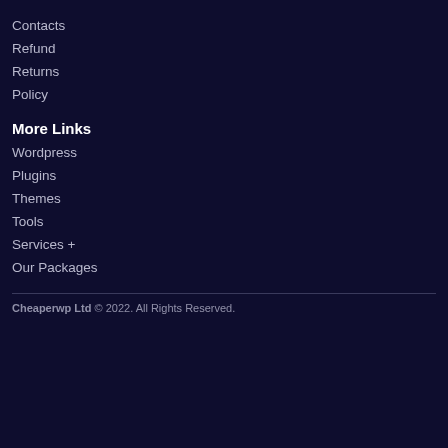Contacts
Refund
Returns
Policy
More Links
Wordpress
Plugins
Themes
Tools
Services +
Our Packages
Cheaperwp Ltd © 2022. All Rights Reserved.